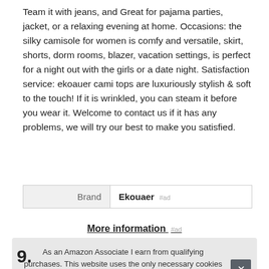Team it with jeans, and Great for pajama parties, jacket, or a relaxing evening at home. Occasions: the silky camisole for women is comfy and versatile, skirt, shorts, dorm rooms, blazer, vacation settings, is perfect for a night out with the girls or a date night. Satisfaction service: ekoauer cami tops are luxuriously stylish & soft to the touch! If it is wrinkled, you can steam it before you wear it. Welcome to contact us if it has any problems, we will try our best to make you satisfied.
| Brand |  |
| --- | --- |
| Brand | Ekouaer #ad |
More information #ad
As an Amazon Associate I earn from qualifying purchases. This website uses the only necessary cookies to ensure you get the best experience on our website. More information
9.